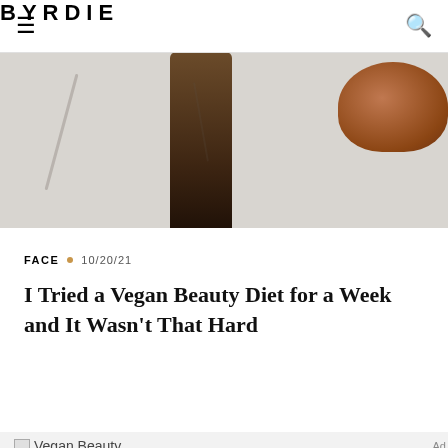BYRDIE
[Figure (photo): Close-up photo of an amber glass bottle and a wooden bowl on a white marble surface]
FACE • 10/20/21
I Tried a Vegan Beauty Diet for a Week and It Wasn't That Hard
[Figure (photo): Vegan Beauty image (broken image placeholder)]